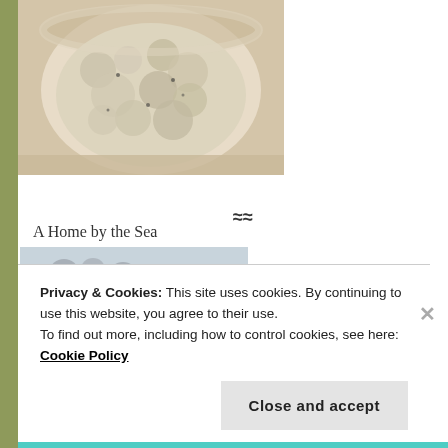[Figure (photo): Close-up overhead photo of a bowl of food, appears to be a creamy dish like rice pudding or porridge in a glass bowl]
[Figure (logo): Blog logo for 'A Home by the Sea' featuring handwritten text with Aquarius wave symbols and a waterfront landscape photo, URL: www.seachange.home.blog]
[Figure (logo): Partial second blog logo at bottom with squiggle/wave symbol and cartoon character illustration]
Privacy & Cookies: This site uses cookies. By continuing to use this website, you agree to their use.
To find out more, including how to control cookies, see here: Cookie Policy
Close and accept